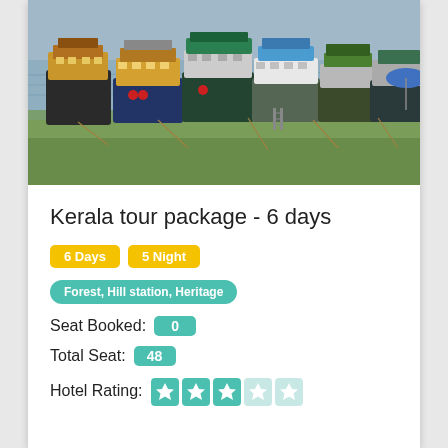[Figure (photo): Photo of several boats docked at a Kerala waterway, with green grass bank and water in background]
Kerala tour package - 6 days
6 Days  5 Night
Forest, Hill station, Heritage
Seat Booked: 0
Total Seat: 48
Hotel Rating: ★★★☆☆